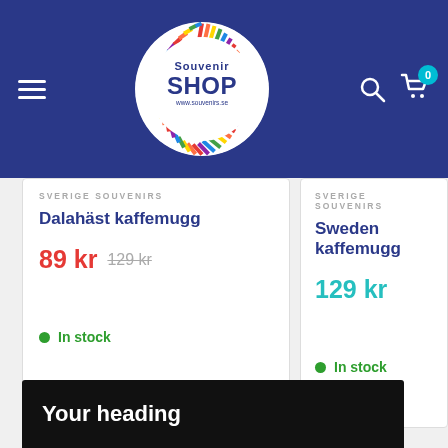[Figure (logo): Souvenir Shop logo — circular rainbow-spiked badge with 'Souvenir SHOP www.souvenirs.se' on dark blue header navigation bar with hamburger menu, search icon, and cart icon with badge '0']
SVERIGE SOUVENIRS
Dalahäst kaffemugg
89 kr  129 kr
In stock
SVERIGE SOUVENIRS
Sweden kaffemugg
129 kr
In stock
Your heading